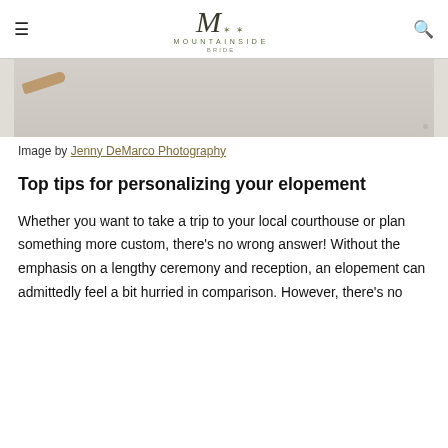≡   MOUNTAINSIDE BRIDE   🔍
[Figure (photo): Top portion of a flat-lay photo showing light-colored linen fabric with a decorative pen or brush accent in warm brown/gold tone.]
Image by Jenny DeMarco Photography
Top tips for personalizing your elopement
Whether you want to take a trip to your local courthouse or plan something more custom, there's no wrong answer! Without the emphasis on a lengthy ceremony and reception, an elopement can admittedly feel a bit hurried in comparison. However, there's no